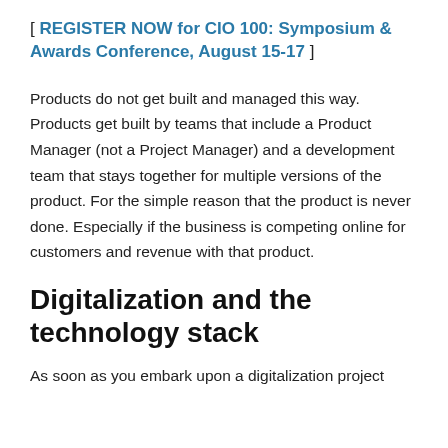[ REGISTER NOW for CIO 100: Symposium & Awards Conference, August 15-17 ]
Products do not get built and managed this way. Products get built by teams that include a Product Manager (not a Project Manager) and a development team that stays together for multiple versions of the product. For the simple reason that the product is never done. Especially if the business is competing online for customers and revenue with that product.
Digitalization and the technology stack
As soon as you embark upon a digitalization project